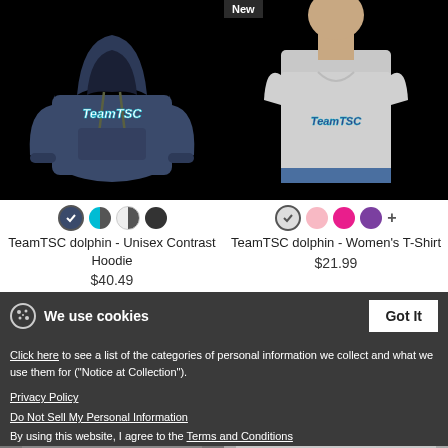[Figure (photo): TeamTSC dolphin Unisex Contrast Hoodie product photo on black background]
[Figure (photo): TeamTSC dolphin Women's T-Shirt product photo on black background with New badge]
TeamTSC dolphin - Unisex Contrast Hoodie
$40.49
TeamTSC dolphin - Women's T-Shirt
$21.99
We use cookies
Got It
Click here to see a list of the categories of personal information we collect and what we use them for ("Notice at Collection").
Privacy Policy
Do Not Sell My Personal Information
By using this website, I agree to the Terms and Conditions